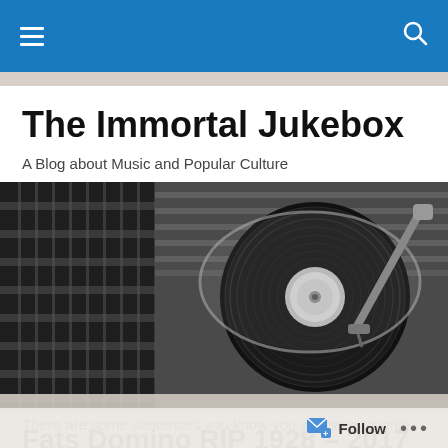≡  🔍 (navigation bar)
The Immortal Jukebox
A Blog about Music and Popular Culture
[Figure (photo): Black and white close-up photo of a jukebox vinyl record player with spinning record and tonearm]
Fats Domino RIP 1928 – 2017
There are some sentences you know you will have to write
Follow  •••